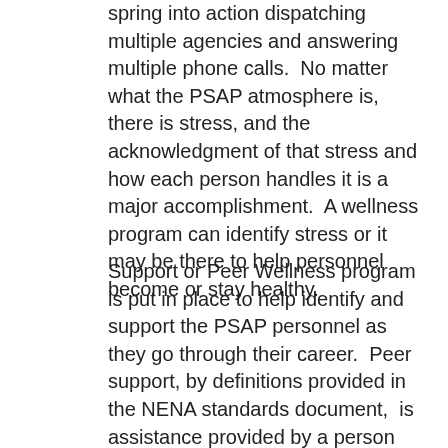spring into action dispatching multiple agencies and answering multiple phone calls.  No matter what the PSAP atmosphere is, there is stress, and the acknowledgment of that stress and how each person handles it is a major accomplishment.  A wellness program can identify stress or it may be there to help personnel become or stay healthy.
Support or Peer Wellness program is put in place to help identify and support the PSAP personnel as they go through their career.  Peer support, by definitions provided in the NENA standards document,  is assistance provided by a person who shares a commonality with another based on a similar event or situation.  The most basic level of peer support can be found within the culture of an